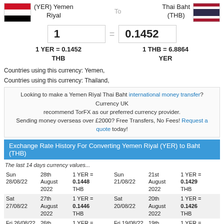(YER) Yemen Riyal To Thai Baht (THB)
1 = 0.1452
1 YER = 0.1452 THB   1 THB = 6.8864 YER
Countries using this currency: Yemen,
Countries using this currency: Thailand,
Looking to make a Yemen Riyal Thai Baht international money transfer? Currency UK recommend TorFX as our preferred currency provider. Sending money overseas over £2000? Free Transfers, No Fees! Request a quote today!
Exchange Rate History For Converting Yemen Riyal (YER) to Baht (THB)
The last 14 days currency values...
| Day | Date | Rate | Day | Date | Rate |
| --- | --- | --- | --- | --- | --- |
| Sun 28/08/22 | 28th August 2022 | 1 YER = 0.1448 THB | Sun 21/08/22 | 21st August 2022 | 1 YER = 0.1429 THB |
| Sat 27/08/22 | 27th August 2022 | 1 YER = 0.1446 THB | Sat 20/08/22 | 20th August 2022 | 1 YER = 0.1426 THB |
| Fri 26/08/22 | 26th August 2022 | 1 YER = 0.1447 THB | Fri 19/08/22 | 19th August 2022 | 1 YER = 0.1427 THB |
| Thu 25/08/22 | 25th August 2022 | 1 YER = 0.1432 THB | Thu 18/08/22 | 18th August 2022 | 1 YER = 0.1424 THB |
| Wed 24/08/22 | 24th August 2022 | 1 YER = 0.1441 THB | Wed 17/08/22 | 17th August 2022 | 1 YER = 0.1417 THB |